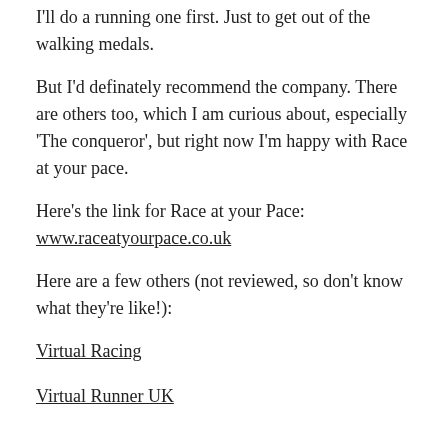I'll do a running one first. Just to get out of the walking medals.
But I'd definately recommend the company. There are others too, which I am curious about, especially 'The conqueror', but right now I'm happy with Race at your pace.
Here's the link for Race at your Pace: www.raceatyourpace.co.uk
Here are a few others (not reviewed, so don't know what they're like!):
Virtual Racing
Virtual Runner UK